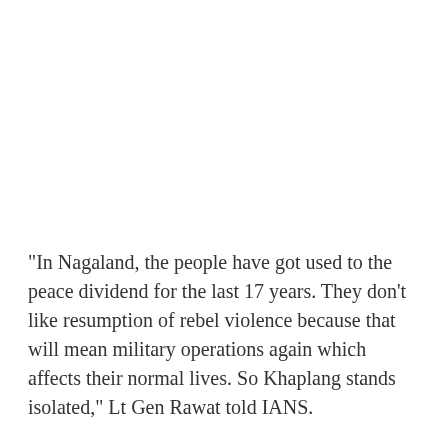"In Nagaland, the people have got used to the peace dividend for the last 17 years. They don't like resumption of rebel violence because that will mean military operations again which affects their normal lives. So Khaplang stands isolated," Lt Gen Rawat told IANS.
He admitted that Khaplang is sheltering Assamese, Bodo, and Manipuri rebel factions at his base area in Myanmar's